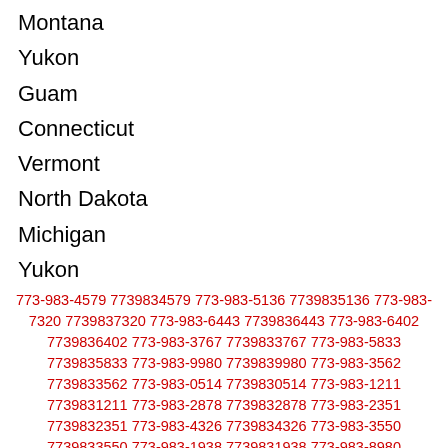Montana
Yukon
Guam
Connecticut
Vermont
North Dakota
Michigan
Yukon
773-983-4579 7739834579 773-983-5136 7739835136 773-983-7320 7739837320 773-983-6443 7739836443 773-983-6402 7739836402 773-983-3767 7739833767 773-983-5833 7739835833 773-983-9980 7739839980 773-983-3562 7739833562 773-983-0514 7739830514 773-983-1211 7739831211 773-983-2878 7739832878 773-983-2351 7739832351 773-983-4326 7739834326 773-983-3550 7739833550 773-983-1938 7739831938 773-983-8980 7739838980 773-983-1444 7739831444 773-983-4491 7739834491 773-983-8502 7739838502 773-983-5316